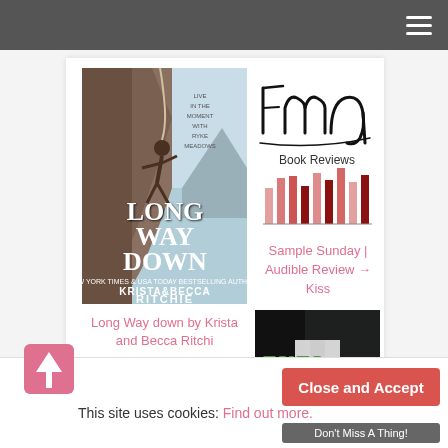Navigation bar with hamburger menu
[Figure (illustration): Book cover: Long Way Down by Krista & Becca Ritchie. Rock climber on cliff face, large text LONG WAY DOWN, KRISTA & BECCA RITCHIE at bottom.]
Long Way down by Krista and Becca Ritchi
[Figure (logo): FMA Book Reviews logo with stylized handwritten 'fma' text above red bar chart graphic and 'Book Reviews' text]
Sample Sunday | Audible Review → Kiss
[Figure (photo): Book cover showing 'FUEL the FIRE' text with dark background]
This site uses cookies: Find out more.
Close and Accept
Don't Miss A Thing!